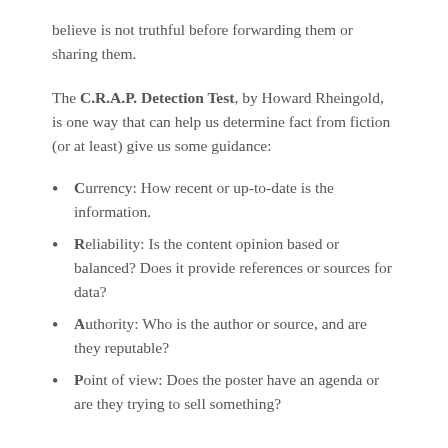believe is not truthful before forwarding them or sharing them.
The C.R.A.P. Detection Test, by Howard Rheingold, is one way that can help us determine fact from fiction (or at least) give us some guidance:
Currency: How recent or up-to-date is the information.
Reliability: Is the content opinion based or balanced? Does it provide references or sources for data?
Authority: Who is the author or source, and are they reputable?
Point of view: Does the poster have an agenda or are they trying to sell something?